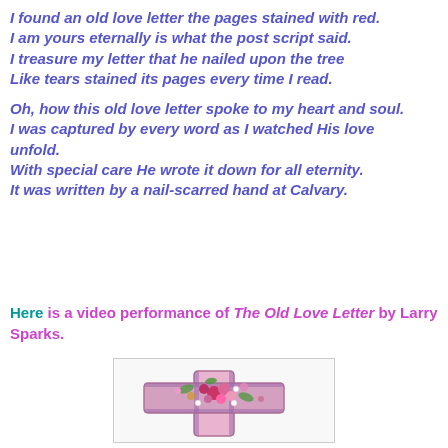I found an old love letter the pages stained with red.
I am yours eternally is what the post script said.
I treasure my letter that he nailed upon the tree
Like tears stained its pages every time I read.

Oh, how this old love letter spoke to my heart and soul.
I was captured by every word as I watched His love unfold.
With special care He wrote it down for all eternity.
It was written by a nail-scarred hand at Calvary.
Here is a video performance of The Old Love Letter by Larry Sparks.
[Figure (photo): A floral cross arrangement made of pink and purple flowers with green foliage, photographed against a white background inside a bordered box.]